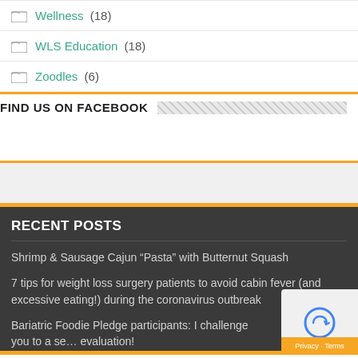Wellness (18)
WLS Education (18)
Zoodles (6)
FIND US ON FACEBOOK
RECENT POSTS
Shrimp & Sausage Cajun “Pasta” with Butternut Squash
7 tips for weight loss surgery patients to avoid cabin fever (and excessive eating!) during the coronavirus outbreak
Bariatric Foodie Pledge participants: I challenge you to a self evaluation!